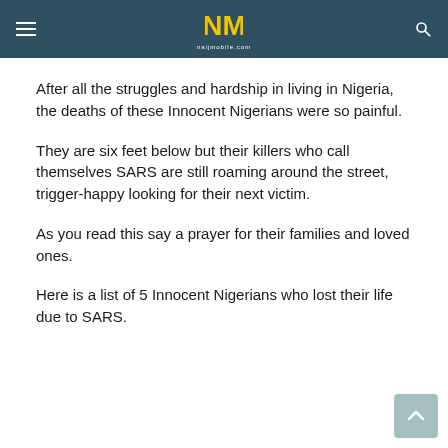NM naijmobile.com
After all the struggles and hardship in living in Nigeria, the deaths of these Innocent Nigerians were so painful.
They are six feet below but their killers who call themselves SARS are still roaming around the street, trigger-happy looking for their next victim.
As you read this say a prayer for their families and loved ones.
Here is a list of 5 Innocent Nigerians who lost their life due to SARS.